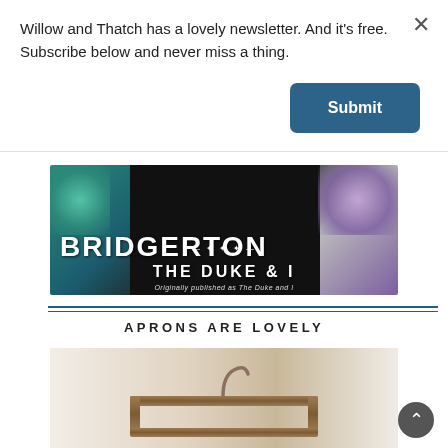Willow and Thatch has a lovely newsletter. And it's free. Subscribe below and never miss a thing.
[Figure (other): Submit button for newsletter subscription, dark teal/blue rounded rectangle with white bold text 'Submit']
[Figure (photo): Book cover for 'Bridgerton: The Duke & I' showing two figures against a floral background with large white text]
APRONS ARE LOVELY
[Figure (photo): Partial photo of wooden apron hanger against a light background]